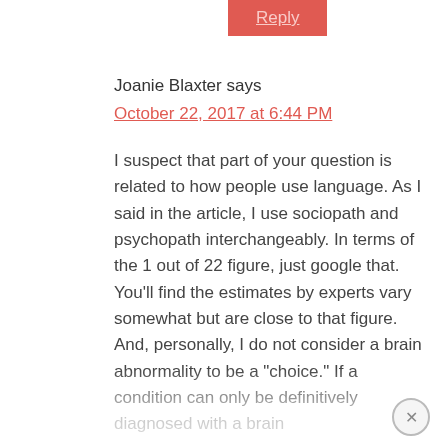[Figure (screenshot): Red reply button at top left of comment section]
Joanie Blaxter says
October 22, 2017 at 6:44 PM
I suspect that part of your question is related to how people use language. As I said in the article, I use sociopath and psychopath interchangeably. In terms of the 1 out of 22 figure, just google that. You'll find the estimates by experts vary somewhat but are close to that figure. And, personally, I do not consider a brain abnormality to be a "choice." If a condition can only be definitively diagnosed with a brain